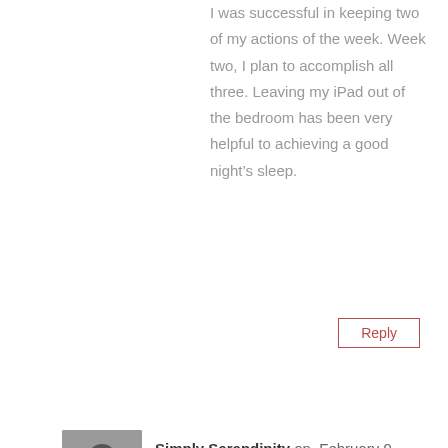I was successful in keeping two of my actions of the week. Week two, I plan to accomplish all three. Leaving my iPad out of the bedroom has been very helpful to achieving a good night's sleep.
Reply
Simply Serendipity on February 9, 2015 at 3:11 am
Love it!
Reply
Tara on February 8, 2015 at 9:20 pm
This week, I am starting a 21 day sugar